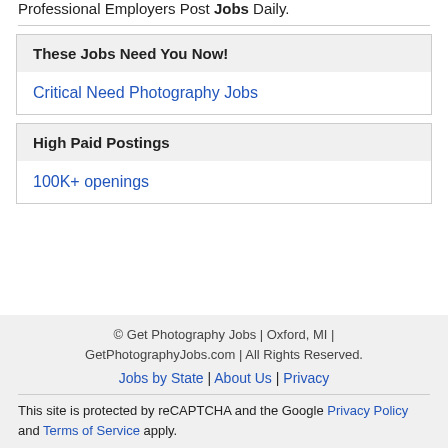Professional Employers Post Jobs Daily.
These Jobs Need You Now!
Critical Need Photography Jobs
High Paid Postings
100K+ openings
© Get Photography Jobs | Oxford, MI | GetPhotographyJobs.com | All Rights Reserved. Jobs by State | About Us | Privacy This site is protected by reCAPTCHA and the Google Privacy Policy and Terms of Service apply.